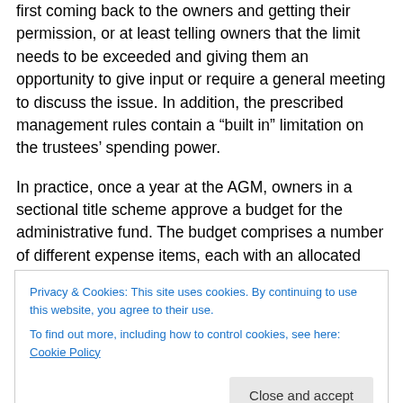first coming back to the owners and getting their permission, or at least telling owners that the limit needs to be exceeded and giving them an opportunity to give input or require a general meeting to discuss the issue. In addition, the prescribed management rules contain a “built in” limitation on the trustees’ spending power.
In practice, once a year at the AGM, owners in a sectional title scheme approve a budget for the administrative fund. The budget comprises a number of different expense items, each with an allocated amount. The trustees are then bound to spend funds according to that budget. PMR
Privacy & Cookies: This site uses cookies. By continuing to use this website, you agree to their use.
To find out more, including how to control cookies, see here: Cookie Policy
budgeted for one expense on another expense.